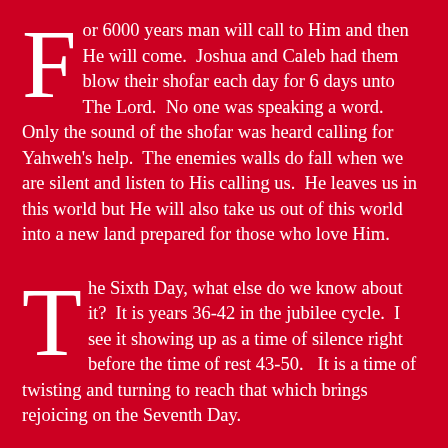For 6000 years man will call to Him and then He will come. Joshua and Caleb had them blow their shofar each day for 6 days unto The Lord. No one was speaking a word. Only the sound of the shofar was heard calling for Yahweh's help. The enemies walls do fall when we are silent and listen to His calling us. He leaves us in this world but He will also take us out of this world into a new land prepared for those who love Him.
The Sixth Day, what else do we know about it? It is years 36-42 in the jubilee cycle. I see it showing up as a time of silence right before the time of rest 43-50. It is a time of twisting and turning to reach that which brings rejoicing on the Seventh Day.